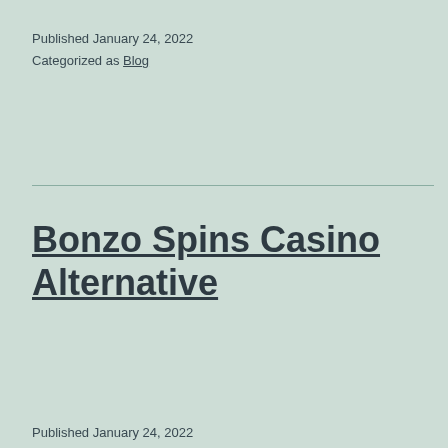Published January 24, 2022
Categorized as Blog
Bonzo Spins Casino Alternative
Published January 24, 2022